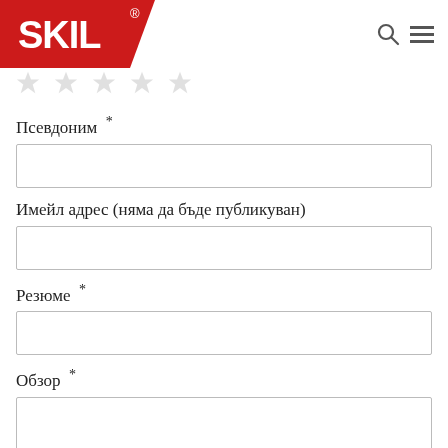[Figure (logo): SKIL brand logo, white text on red diagonal-cut background]
[Figure (illustration): Row of five greyed-out star rating icons]
Псевдоним *
[Figure (other): Empty text input field for nickname]
Имейл адрес (няма да бъде публикуван)
[Figure (other): Empty text input field for email address]
Резюме *
[Figure (other): Empty text input field for summary]
Обзор *
[Figure (other): Empty tall text input field for review]